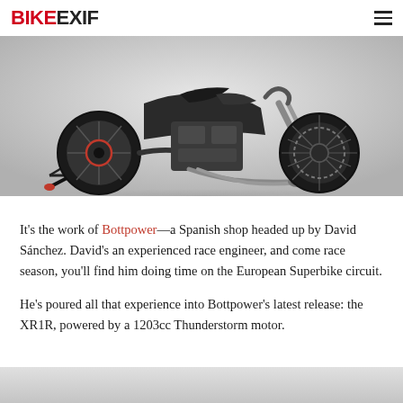BIKEEXIF
[Figure (photo): Custom motorcycle (Bottpower XR1R) on a paddock stand, shot against a light gray studio background. The bike features a black frame, spoked wheels, visible engine, and exhaust pipes.]
It's the work of Bottpower—a Spanish shop headed up by David Sánchez. David's an experienced race engineer, and come race season, you'll find him doing time on the European Superbike circuit.
He's poured all that experience into Bottpower's latest release: the XR1R, powered by a 1203cc Thunderstorm motor.
[Figure (photo): Bottom portion of another motorcycle photo, partially visible, against a gray background.]